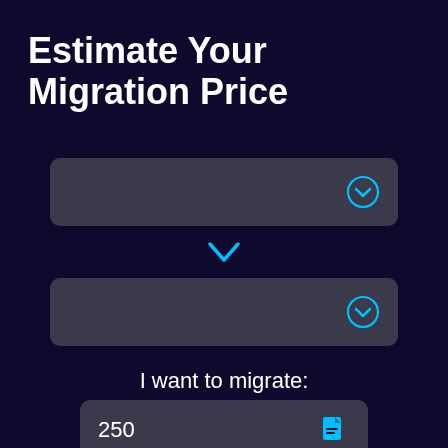Estimate Your Migration Price
[Figure (screenshot): Dropdown select box (empty) with cyan chevron-circle icon on right]
[Figure (screenshot): Cyan chevron/arrow pointing downward between two dropdowns]
[Figure (screenshot): Dropdown select box (empty) with cyan chevron-circle icon on right]
I want to migrate:
[Figure (screenshot): Input field showing '250' with a cyan document/file icon on the right]